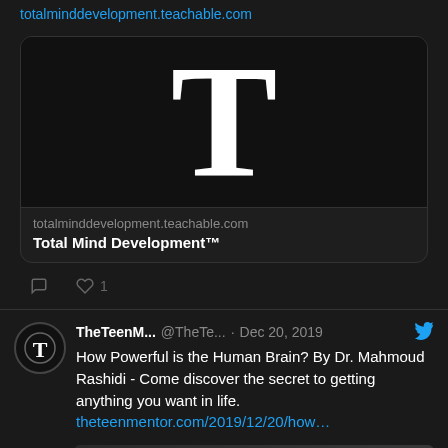totalminddevelopment.teachable.com
[Figure (screenshot): Dark card with large white letter T on black background, showing totalminddevelopment.teachable.com and Total Mind Development™]
totalminddevelopment.teachable.com
Total Mind Development™
1
TheTeenM... @TheTe... · Dec 20, 2019
How Powerful is the Human Brain? By Dr. Mahmoud Rashidi - Come discover the secret to getting anything you want in life.
theteenmentor.com/2019/12/20/how...
[Figure (screenshot): Partial preview of another tweet image at the bottom]